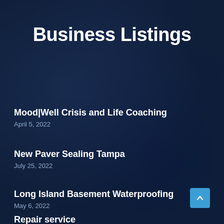Business Listings
Mood|Well Crisis and Life Coaching
April 5, 2022
New Paver Sealing Tampa
July 25, 2022
Long Island Basement Waterproofing
May 6, 2022
Repair service